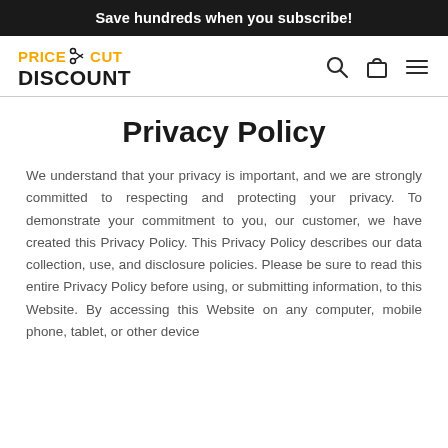Save hundreds when you subscribe!
[Figure (logo): Price Cut Discount logo with scissors icon, orange and dark text]
Privacy Policy
We understand that your privacy is important, and we are strongly committed to respecting and protecting your privacy. To demonstrate your commitment to you, our customer, we have created this Privacy Policy. This Privacy Policy describes our data collection, use, and disclosure policies. Please be sure to read this entire Privacy Policy before using, or submitting information, to this Website. By accessing this Website on any computer, mobile phone, tablet, or other device